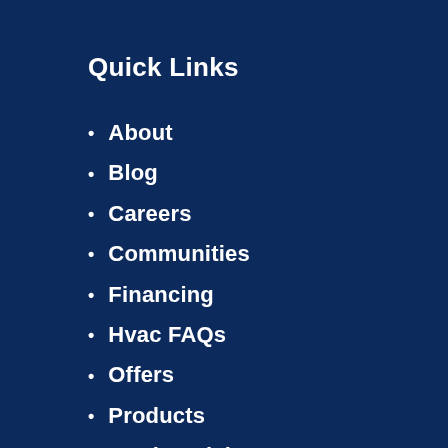Quick Links
About
Blog
Careers
Communities
Financing
Hvac FAQs
Offers
Products
Testimonials